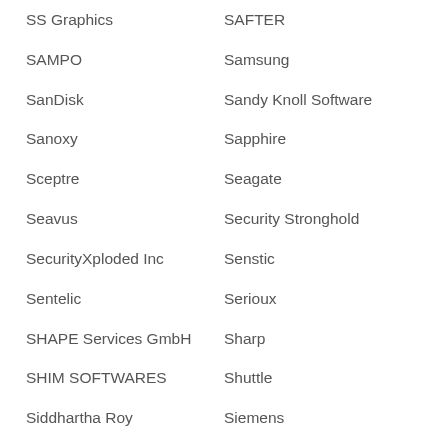SS Graphics
SAFTER
SAMPO
Samsung
SanDisk
Sandy Knoll Software
Sanoxy
Sapphire
Sceptre
Seagate
Seavus
Security Stronghold
SecurityXploded Inc
Senstic
Sentelic
Serioux
SHAPE Services GmbH
Sharp
SHIM SOFTWARES
Shuttle
Siddhartha Roy
Siemens
Sierra Wireless
Sigma Design
Silicon Image
Silicon Labs